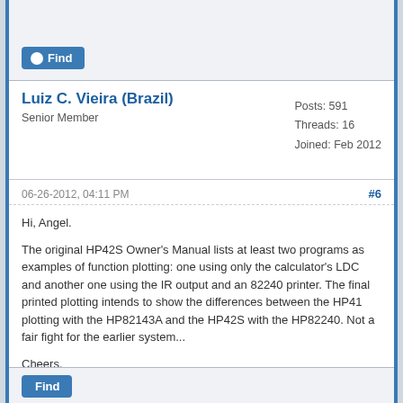Find
Luiz C. Vieira (Brazil)
Senior Member
Posts: 591
Threads: 16
Joined: Feb 2012
06-26-2012, 04:11 PM
#6
Hi, Angel.

The original HP42S Owner's Manual lists at least two programs as examples of function plotting: one using only the calculator's LDC and another one using the IR output and an 82240 printer. The final printed plotting intends to show the differences between the HP41 plotting with the HP82143A and the HP42S with the HP82240. Not a fair fight for the earlier system...

Cheers.

Luiz (Brazil)
Find